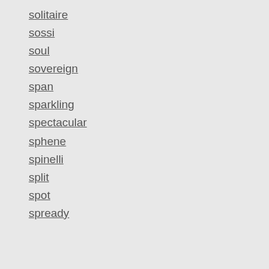solitaire
sossi
soul
sovereign
span
sparkling
spectacular
sphene
spinelli
split
spot
spready